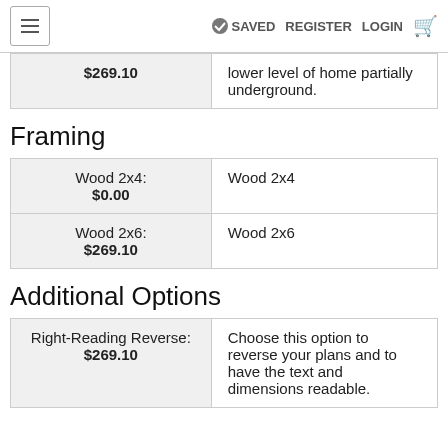SAVED  REGISTER  LOGIN
| $269.10 | lower level of home partially underground. |
Framing
| Wood 2x4: $0.00 | Wood 2x4 |
| Wood 2x6: $269.10 | Wood 2x6 |
Additional Options
| Right-Reading Reverse: $269.10 | Choose this option to reverse your plans and to have the text and dimensions readable. |